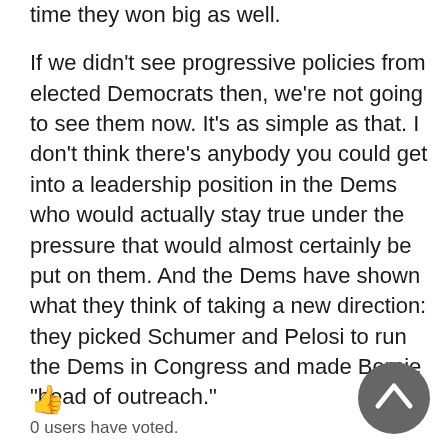time they won big as well.
If we didn't see progressive policies from elected Democrats then, we're not going to see them now. It's as simple as that. I don't think there's anybody you could get into a leadership position in the Dems who would actually stay true under the pressure that would almost certainly be put on them. And the Dems have shown what they think of taking a new direction: they picked Schumer and Pelosi to run the Dems in Congress and made Bernie "head of outreach."
0 users have voted.